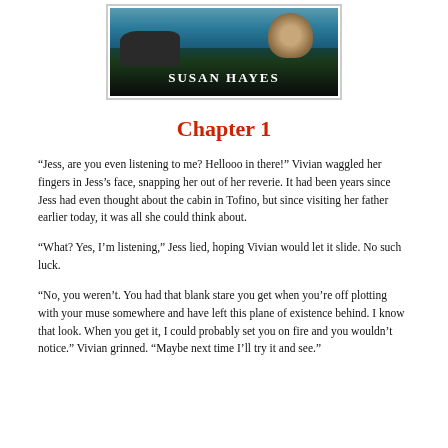[Figure (photo): Book cover showing a seal on rocks by the ocean with the author name 'SUSAN HAYES' overlaid in white text]
Chapter 1
“Jess, are you even listening to me? Hellooo in there!” Vivian waggled her fingers in Jess’s face, snapping her out of her reverie. It had been years since Jess had even thought about the cabin in Tofino, but since visiting her father earlier today, it was all she could think about.
“What? Yes, I’m listening,” Jess lied, hoping Vivian would let it slide. No such luck.
“No, you weren’t. You had that blank stare you get when you’re off plotting with your muse somewhere and have left this plane of existence behind. I know that look. When you get it, I could probably set you on fire and you wouldn’t notice.” Vivian grinned. “Maybe next time I’ll try it and see.”